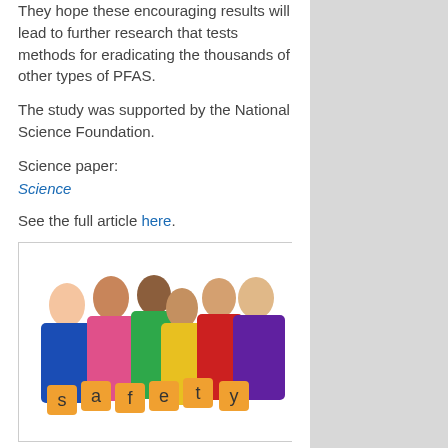They hope these encouraging results will lead to further research that tests methods for eradicating the thousands of other types of PFAS.
The study was supported by the National Science Foundation.
Science paper:
Science
See the full article here.
[Figure (photo): Group of six children in colorful shirts holding orange letter tiles spelling 'safety']
five-ways-keep-your-child-safe-school-shootings
Please help promote STEM in your local schools.
[Figure (illustration): Four colored STEM icons: green science beaker, yellow atom/flower, red gear, blue pi symbol]